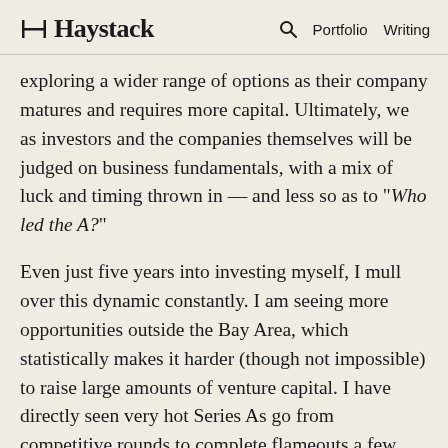Haystack | Portfolio Writing
exploring a wider range of options as their company matures and requires more capital. Ultimately, we as investors and the companies themselves will be judged on business fundamentals, with a mix of luck and timing thrown in — and less so as to "Who led the A?"
Even just five years into investing myself, I mull over this dynamic constantly. I am seeing more opportunities outside the Bay Area, which statistically makes it harder (though not impossible) to raise large amounts of venture capital. I have directly seen very hot Series As go from competitive rounds to complete flameouts a few years later. I have seen companies in the Bay Area that couldn't raise a local